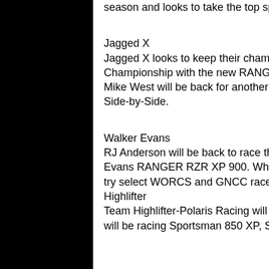season and looks to take the top spot in that series.
Jagged X
Jagged X looks to keep their championship streak alive in Best in the Desert Championship with the new RANGER RZR XP 900. Brandon Schueler, Chad Riccio and Mike West will be back for another exciting season in the new 88-horsepower, extreme Side-by-Side.
Walker Evans
RJ Anderson will be back to race the TORC and LUCAS Oil series with his new Walker Evans RANGER RZR XP 900. When he's not tearing up those series, Anderson also will try select WORCS and GNCC races.
Highlifter
Team Highlifter-Polaris Racing will be muddin' on Polaris' once again for 2011. The team will be racing Sportsman 850 XP, Sportsman 550,